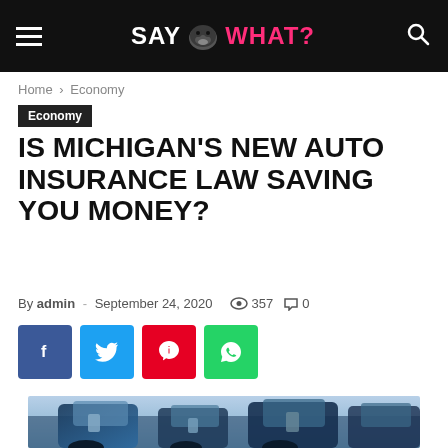SAY [gorilla] WHAT?
Home › Economy
Economy
IS MICHIGAN'S NEW AUTO INSURANCE LAW SAVING YOU MONEY?
By admin - September 24, 2020   357   0
[Figure (infographic): Social sharing buttons: Facebook (blue), Twitter (cyan), Pinterest (red), WhatsApp (green)]
[Figure (photo): Row of cars, close-up of side mirrors and doors, blue tones, parking lot scene]